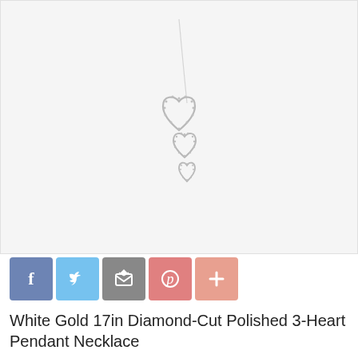[Figure (photo): White gold necklace with three descending diamond-cut polished hearts as pendant, on a delicate chain, photographed on white/light gray background]
[Figure (infographic): Social sharing buttons: Facebook (blue), Twitter (light blue), Email (gray), Pinterest (salmon/red), More/Plus (salmon/pink)]
White Gold 17in Diamond-Cut Polished 3-Heart Pendant Necklace